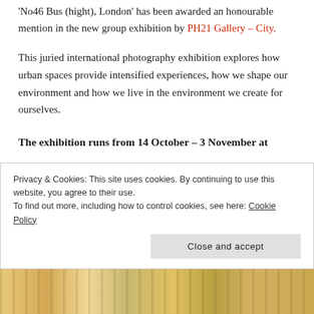'No46 Bus (hight), London' has been awarded an honourable mention in the new group exhibition by PH21 Gallery – City.
This juried international photography exhibition explores how urban spaces provide intensified experiences, how we shape our environment and how we live in the environment we create for ourselves.
The exhibition runs from 14 October – 3 November at
PH21 Gallery
Szkéné Theatre
Budapest University of Technology and Economics
H-1111 Budapest
Privacy & Cookies: This site uses cookies. By continuing to use this website, you agree to their use.
To find out more, including how to control cookies, see here: Cookie Policy
[Figure (photo): Colorful photo strip at the bottom of the page, showing warm yellow/golden tones]